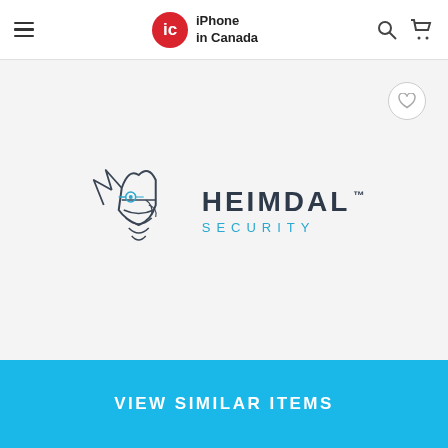iPhone in Canada
[Figure (logo): Heimdal Security logo featuring a stylized Viking helmet face outline in dark gray with cyan/blue eye detail, next to the text HEIMDAL with trademark symbol and SECURITY in cyan letters below]
VIEW SIMILAR ITEMS